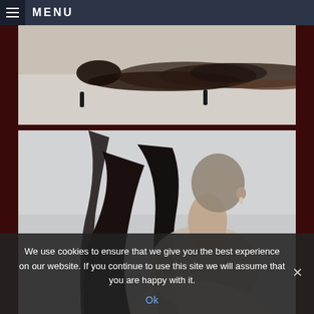MENU
[Figure (photo): Woman in black lingerie lying on floor, photographed from above at angle, wearing high heels]
[Figure (photo): Woman with long dark hair, face blurred, looking over shoulder, wearing light top]
We use cookies to ensure that we give you the best experience on our website. If you continue to use this site we will assume that you are happy with it.
Ok